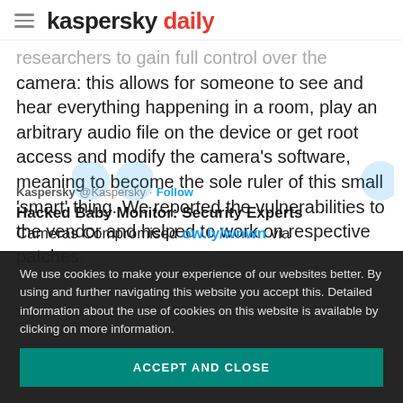kaspersky daily
researchers to gain full control over the camera: this allows for someone to see and hear everything happening in a room, play an arbitrary audio file on the device or get root access and modify the camera’s software, meaning to become the sole ruler of this small ‘smart’ thing. We reported the vulnerabilities to the vendor and helped to work on respective patches.
We use cookies to make your experience of our websites better. By using and further navigating this website you accept this. Detailed information about the use of cookies on this website is available by clicking on more information.
ACCEPT AND CLOSE
Kaspersky @Kaspersky · Follow Hacked Baby Monitor: Security Experts Cameras Compromised ow.ly/wnwn via